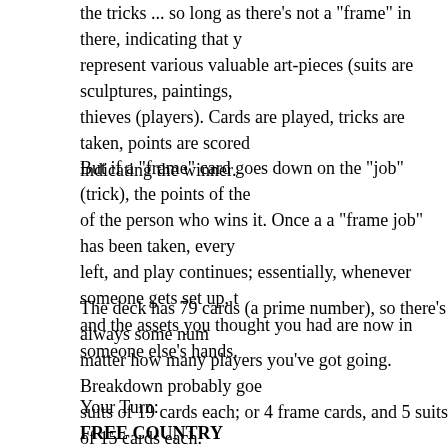the tricks ... so long as there's not a "frame" in there, indicating that y represent various valuable art-pieces (suits are sculptures, paintings, thieves (players). Cards are played, tricks are taken, points are scored indicating the winner.
But if a "frame" card goes down on the "job" (trick), the points of the of the person who wins it. Once a a "frame job" has been taken, every left, and play continues; essentially, whenever someone gets set up, t and the assets you thought you had are now in someone else's hands.
The deck has 79 cards (a prime number), so there's always some num matter how many players you've got going. Breakdown probably goe suits of 19 cards each; or 4 frame cards, and 5 suits of 15 cards each. through X (10?), plus "face" cards ranging from minor work through along those lines.
Your Turn:
FREE COUNTRY